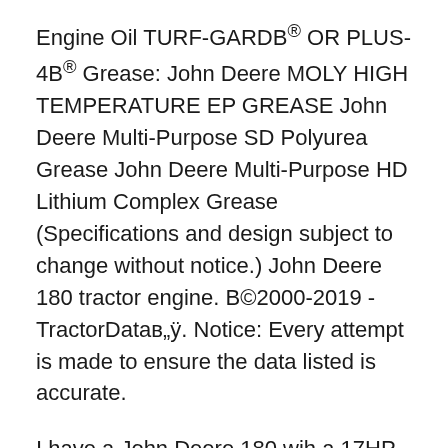Engine Oil TURF-GARDB® OR PLUS-4B® Grease: John Deere MOLY HIGH TEMPERATURE EP GREASE John Deere Multi-Purpose SD Polyurea Grease John Deere Multi-Purpose HD Lithium Complex Grease (Specifications and design subject to change without notice.) John Deere 180 tractor engine. B©2000-2019 - TractorDataв„ÿ. Notice: Every attempt is made to ensure the data listed is accurate.
I have a John Deere 180 wih a 17HP Kawasaki and a 46" deck. The engine runs fine for 20 minutes and then stalls. It starts right back up, but I have to keep the choke closed to keep it running. When it's in this mode, it has no power at all. After about 15 or 20 minutes of being shut off, it